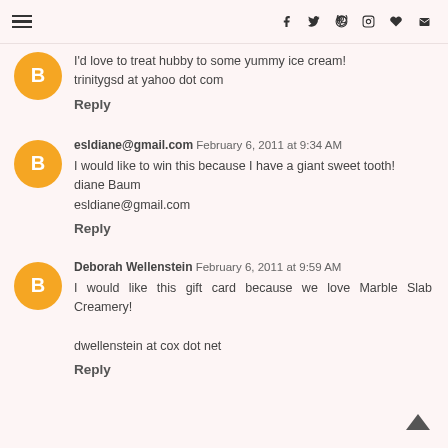Navigation menu and social icons: f, twitter, pinterest, instagram, heart, mail
I'd love to treat hubby to some yummy ice cream!
trinitygsd at yahoo dot com
Reply
esldiane@gmail.com  February 6, 2011 at 9:34 AM
I would like to win this because I have a giant sweet tooth!
diane Baum
esldiane@gmail.com
Reply
Deborah Wellenstein  February 6, 2011 at 9:59 AM
I would like this gift card because we love Marble Slab Creamery!

dwellenstein at cox dot net
Reply